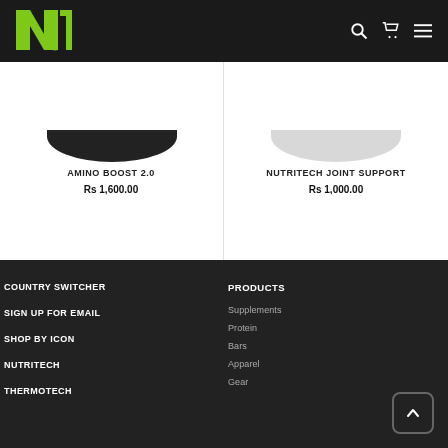[Figure (logo): Nutritech N1 green logo on dark header bar]
AMINO BOOST 2.0
Rs 1,600.00
NUTRITECH JOINT SUPPORT
Rs 1,000.00
COUNTRY SWITCHER
SIGN UP FOR EMAIL
SHOP BY ICON
NUTRITECH
THERMOTECH
PRODUCTS
Supplements
Protein
Bars
Apparel
Gear